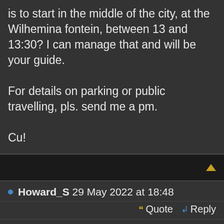is to start in the middle of the city, at the Wilhemina fontein, between 13 and 13:30? I can manage that and will be your guide.

For details on parking or public travelling, pls. send me a pm.

Cu!
Howard_S 29 May 2022 at 18:48
Quote  Reply
Congratulations, Jet, and sorry to miss you this time.